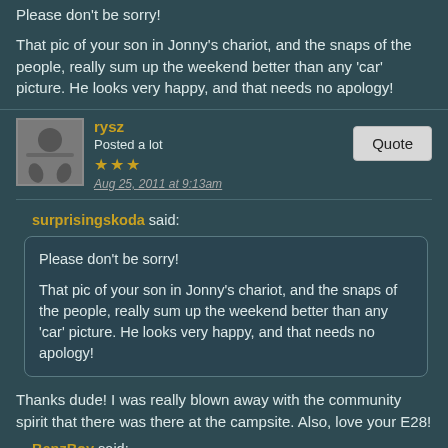Please don't be sorry!

That pic of your son in Jonny's chariot, and the snaps of the people, really sum up the weekend better than any 'car' picture. He looks very happy, and that needs no apology!
rysz
Posted a lot
★★★
Aug 25, 2011 at 9:13am
surprisingskoda said:
Please don't be sorry!

That pic of your son in Jonny's chariot, and the snaps of the people, really sum up the weekend better than any 'car' picture. He looks very happy, and that needs no apology!
Thanks dude! I was really blown away with the community spirit that there was there at the campsite. Also, love your E28!
BenzBoy said:
Nice one Rysz, I'm enjoying looking back over the show photos. I still have a warm fuzzy glow and the seed of an idea for another…